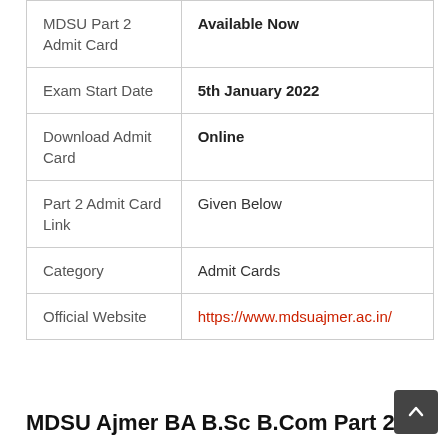|  |  |
| --- | --- |
| MDSU Part 2 Admit Card | Available Now |
| Exam Start Date | 5th January 2022 |
| Download Admit Card | Online |
| Part 2 Admit Card Link | Given Below |
| Category | Admit Cards |
| Official Website | https://www.mdsuajmer.ac.in/ |
MDSU Ajmer BA B.Sc B.Com Part 2